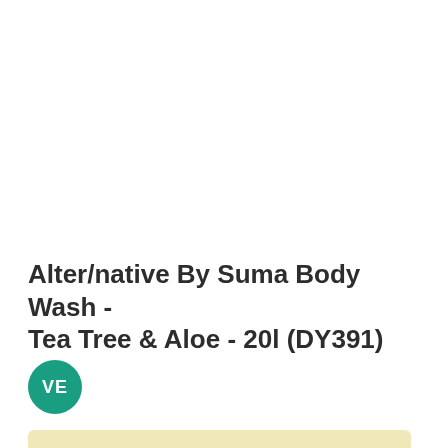Alter/native By Suma Body Wash - Tea Tree & Aloe - 20l (DY391)
[Figure (logo): Teal circular badge with white letters VE]
Log In